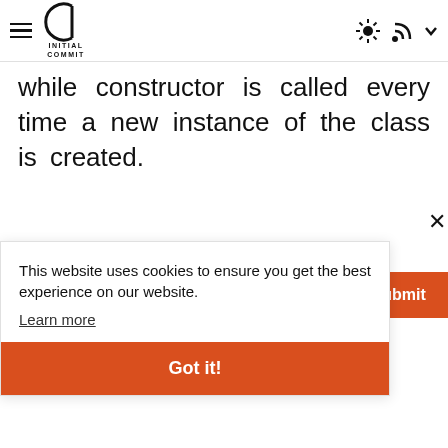Initial Commit — navigation bar with hamburger menu, logo, sun/brightness icon, RSS icon, dropdown
while constructor is called every time a new instance of the class is created.
This website uses cookies to ensure you get the best experience on our website. Learn more
Got it!